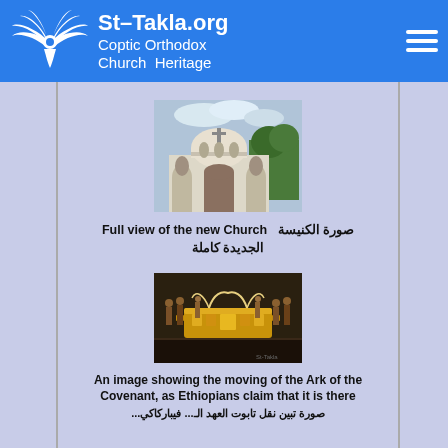St-Takla.org Coptic Orthodox Church Heritage
[Figure (photo): Full view of the new Church building with dome]
Full view of the new Church  صورة الكنيسة الجديدة كاملة
[Figure (photo): An image showing the moving of the Ark of the Covenant]
An image showing the moving of the Ark of the Covenant, as Ethiopians claim that it is there
صورة تبين نقل تابوت العهد الـ... (Arabic text cut off)